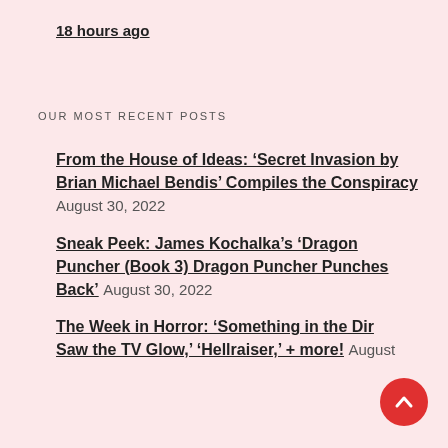18 hours ago
OUR MOST RECENT POSTS
From the House of Ideas: ‘Secret Invasion by Brian Michael Bendis’ Compiles the Conspiracy August 30, 2022
Sneak Peek: James Kochalka’s ‘Dragon Puncher (Book 3) Dragon Puncher Punches Back’ August 30, 2022
The Week in Horror: ‘Something in the Dirt,’ ‘I Saw the TV Glow,’ ‘Hellraiser,’ + more! August